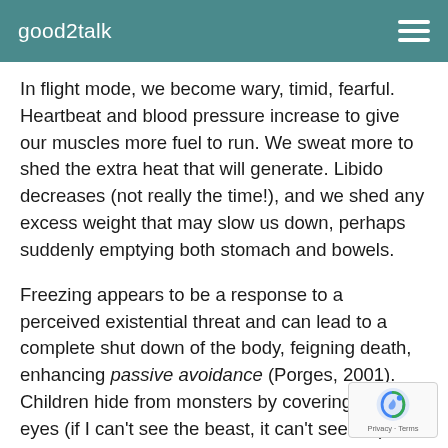good2talk
In flight mode, we become wary, timid, fearful. Heartbeat and blood pressure increase to give our muscles more fuel to run. We sweat more to shed the extra heat that will generate. Libido decreases (not really the time!), and we shed any excess weight that may slow us down, perhaps suddenly emptying both stomach and bowels.
Freezing appears to be a response to a perceived existential threat and can lead to a complete shut down of the body, feigning death, enhancing passive avoidance (Porges, 2001). Children hide from monsters by covering their eyes (if I can't see the beast, it can't see me). Adults are little different, except perhaps that we tend to hide in our minds. Threats need not be physical (or real),